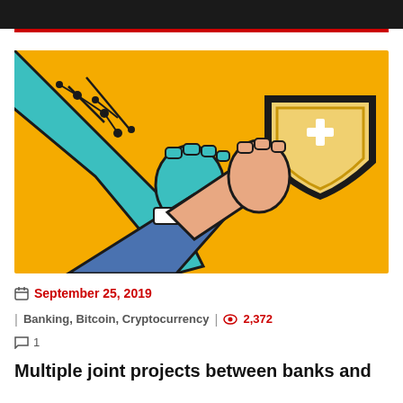[Figure (illustration): Illustration on a yellow background showing a robotic/digital arm with circuit-board patterns in teal gripping a human hand in a handshake, with a medical shield cross symbol on the right side]
September 25, 2019
Banking, Bitcoin, Cryptocurrency | 2,372
1
Multiple joint projects between banks and